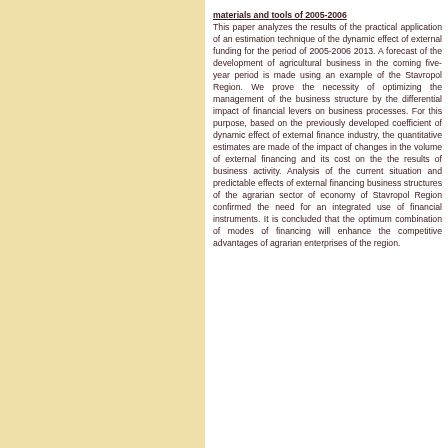materials and tools of 2005-2006. This paper analyzes the results of the practical application of an estimation technique of the dynamic effect of external funding for the period of 2005-2006 2013. A forecast of the development of agricultural business in the coming five-year period is made using an example of the Stavropol Region. We prove the necessity of optimizing the management of the business structure by the differential impact of financial levers on business processes. For this purpose, based on the previously developed coefficient of dynamic effect of external finance industry, the quantitative estimates are made of the impact of changes in the volume of external financing and its cost on the the results of business activity. Analysis of the current situation and predictable effects of external financing business structures of the agrarian sector of economy of Stavropol Region confirmed the need for an integrated use of financial instruments. It is concluded that the optimum combination of modes of financing will enhance the competitive advantages of agrarian enterprises of the region.